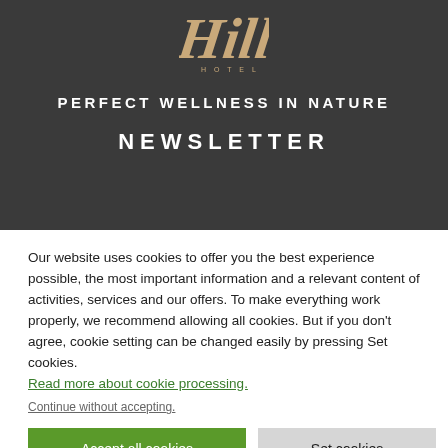[Figure (logo): Hills hotel/brand logo in tan/beige cursive script on dark background]
PERFECT WELLNESS IN NATURE
NEWSLETTER
Our website uses cookies to offer you the best experience possible, the most important information and a relevant content of activities, services and our offers. To make everything work properly, we recommend allowing all cookies. But if you don't agree, cookie setting can be changed easily by pressing Set cookies. Read more about cookie processing. Continue without accepting.
Accept all cookies
Set cookies